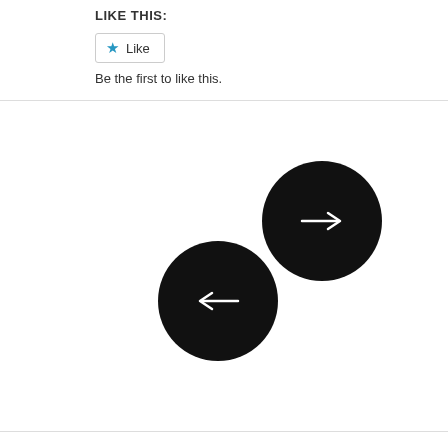LIKE THIS:
[Figure (other): Like button widget with blue star icon and 'Like' text, followed by 'Be the first to like this.' message]
[Figure (other): Two black circular navigation buttons: right arrow button (upper right) and left arrow button (lower left)]
Proudly powered by WordPress | Theme: Ryu by Automattic.